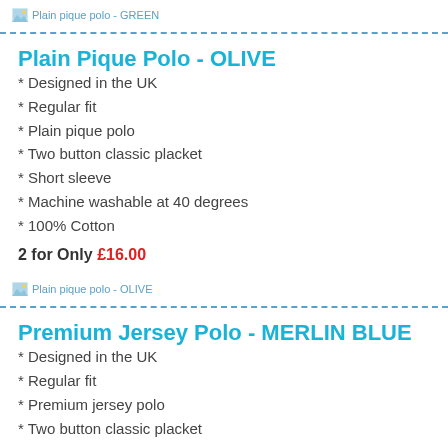Plain pique polo - GREEN
Plain Pique Polo - OLIVE
* Designed in the UK
* Regular fit
* Plain pique polo
* Two button classic placket
* Short sleeve
* Machine washable at 40 degrees
* 100% Cotton
2 for Only £16.00
Plain pique polo - OLIVE
Premium Jersey Polo - MERLIN BLUE
* Designed in the UK
* Regular fit
* Premium jersey polo
* Two button classic placket